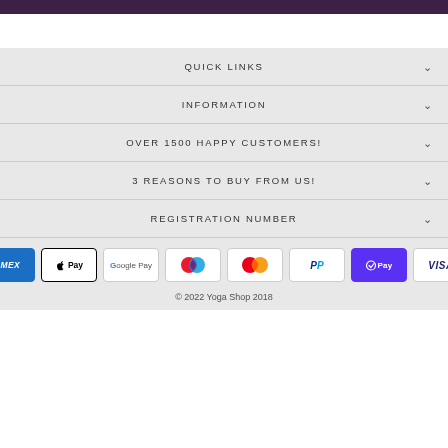[Figure (other): Dark purple/maroon header bar at top]
QUICK LINKS
INFORMATION
OVER 1500 HAPPY CUSTOMERS!
3 REASONS TO BUY FROM US!
REGISTRATION NUMBER
[Figure (other): Payment method icons: AMEX, Apple Pay, Google Pay, Maestro, Mastercard, PayPal, Shop Pay, Visa]
© 2022 Yoga Shop 2018